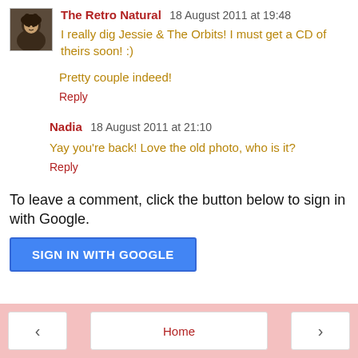[Figure (photo): Small avatar photo of a person]
The Retro Natural  18 August 2011 at 19:48
I really dig Jessie & The Orbits! I must get a CD of theirs soon! :)
Pretty couple indeed!
Reply
Nadia  18 August 2011 at 21:10
Yay you're back! Love the old photo, who is it?
Reply
To leave a comment, click the button below to sign in with Google.
SIGN IN WITH GOOGLE
‹  Home  ›